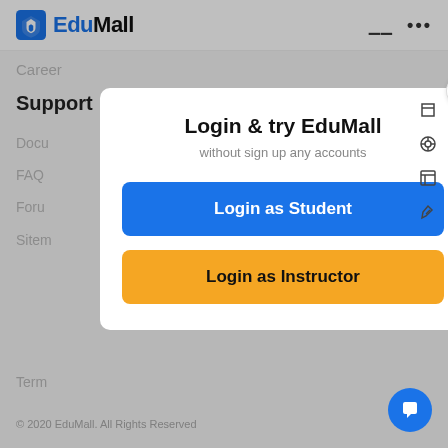EduMall
Career
Support
Docu
FAQ
Foru
Sitem
Term
[Figure (screenshot): Login modal dialog with title 'Login & try EduMall', subtitle 'without sign up any accounts', a blue 'Login as Student' button, and a yellow 'Login as Instructor' button]
© 2020 EduMall. All Rights Reserved